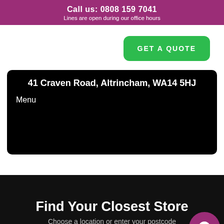Call us: 0808 159 7041
Lines are open during our office hours
GET A QUOTE
41 Craven Road, Altrincham, WA14 5HJ
Menu
Find Your Closest Store
Choose a location or enter your postcode